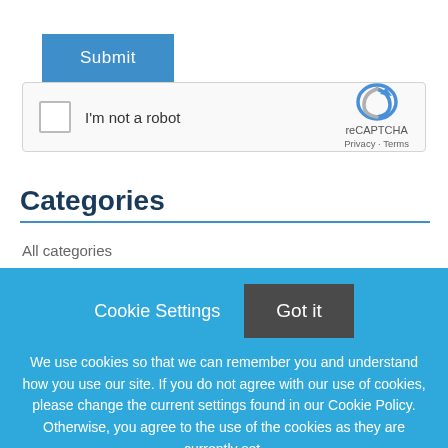[Figure (screenshot): A blue 'Submit' button]
[Figure (screenshot): A reCAPTCHA widget with checkbox labeled 'I'm not a robot', and the reCAPTCHA logo with 'reCAPTCHA', 'Privacy - Terms' text on the right.]
Categories
All categories
Cookie Settings
[Figure (screenshot): A dark gray 'Got it' button]
We use cookies so that we can remember you and understand how you use our site. If you do not agree with our use of cookies, please change the current settings found in our Cookie Policy. Otherwise, you agree to the use of the cookies as they are currently set.